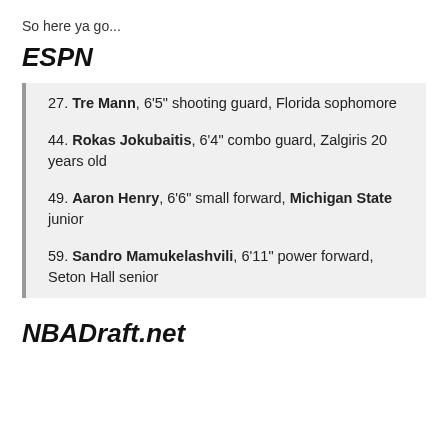So here ya go...
ESPN
27. Tre Mann, 6'5" shooting guard, Florida sophomore
44. Rokas Jokubaitis, 6'4" combo guard, Zalgiris 20 years old
49. Aaron Henry, 6'6" small forward, Michigan State junior
59. Sandro Mamukelashvili, 6'11" power forward, Seton Hall senior
NBADraft.net